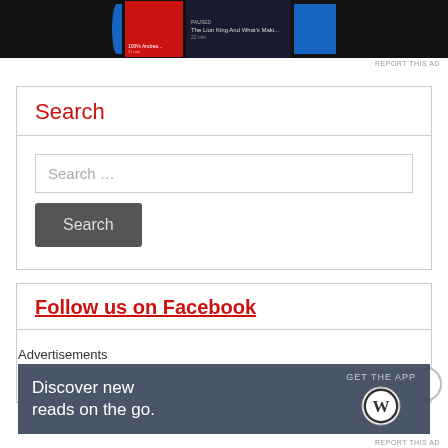[Figure (screenshot): Advertisement banner at top showing media app interface with red and dark blocks and blue element]
REPORT THIS AD
Search
Search …
Search
Follow us on Facebook
Advertisements
[Figure (screenshot): Advertisement banner: Discover new reads on the go. GET THE APP with WordPress logo]
REPORT THIS AD